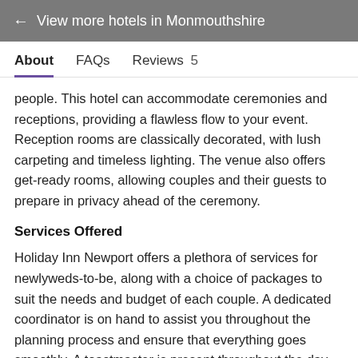← View more hotels in Monmouthshire
About  FAQs  Reviews 5
people. This hotel can accommodate ceremonies and receptions, providing a flawless flow to your event. Reception rooms are classically decorated, with lush carpeting and timeless lighting. The venue also offers get-ready rooms, allowing couples and their guests to prepare in privacy ahead of the ceremony.
Services Offered
Holiday Inn Newport offers a plethora of services for newlyweds-to-be, along with a choice of packages to suit the needs and budget of each couple. A dedicated coordinator is on hand to assist you throughout the planning process and ensure that everything goes smoothly. A toastmaster is present throughout the day reception, while guests are greeted with a red carpet and a glass of